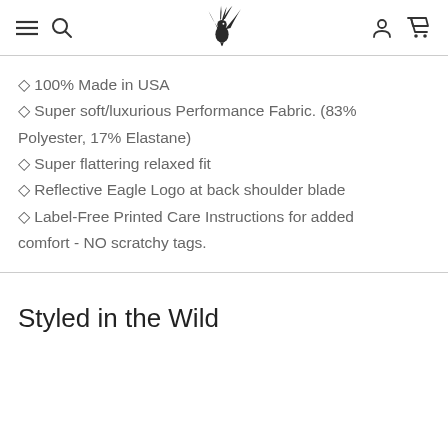Navigation bar with hamburger menu, search icon, bird logo, user icon, and cart icon
◇ 100% Made in USA
◇ Super soft/luxurious Performance Fabric. (83% Polyester, 17% Elastane)
◇ Super flattering relaxed fit
◇ Reflective Eagle Logo at back shoulder blade
◇ Label-Free Printed Care Instructions for added comfort - NO scratchy tags.
Styled in the Wild